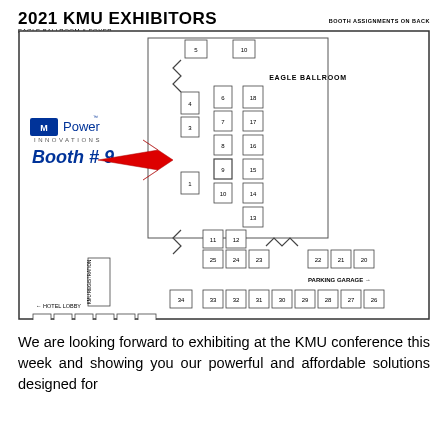2021 KMU EXHIBITORS
EAGLE BALLROOM & FOYER
BOOTH ASSIGNMENTS ON BACK
[Figure (map): Floor plan map of KMU exhibitor booths in Eagle Ballroom & Foyer. Shows booth numbers 1-40 arranged in the floor plan. A large red arrow points to Booth #9. Includes MPower Innovations logo and 'Booth # 9' label. Shows KMU Registration area, Hotel Lobby direction, Parking Garage direction, and Entrance.]
We are looking forward to exhibiting at the KMU conference this week and showing you our powerful and affordable solutions designed for